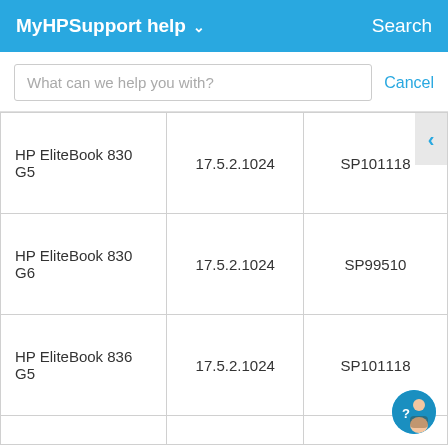MyHPSupport help  Search
What can we help you with?  Cancel
| HP EliteBook 830 G5 | 17.5.2.1024 | SP101118 |
| HP EliteBook 830 G6 | 17.5.2.1024 | SP99510 |
| HP EliteBook 836 G5 | 17.5.2.1024 | SP101118 |